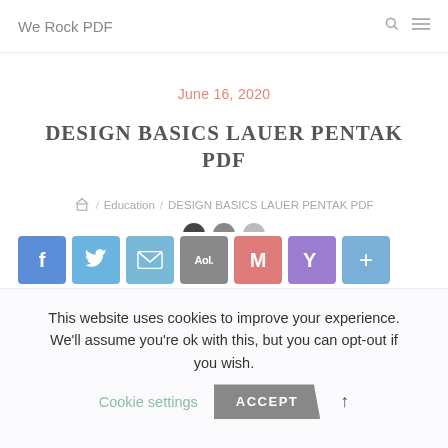We Rock PDF
June 16, 2020
DESIGN BASICS LAUER PENTAK PDF
/ Education / DESIGN BASICS LAUER PENTAK PDF
[Figure (infographic): Social share buttons: Facebook, Twitter, Mail, AOL, Gmail, Yahoo, Plus]
This website uses cookies to improve your experience. We'll assume you're ok with this, but you can opt-out if you wish. Cookie settings ACCEPT